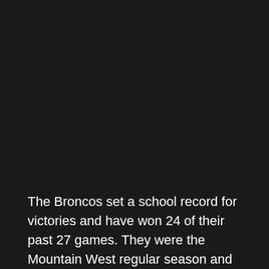The Broncos set a school record for victories and have won 24 of their past 27 games. They were the Mountain West regular season and conference tournament champions.
Boise State was hoping for a better seed, but 12th-year coach Leon Rice ultimately decided it has no bearing on